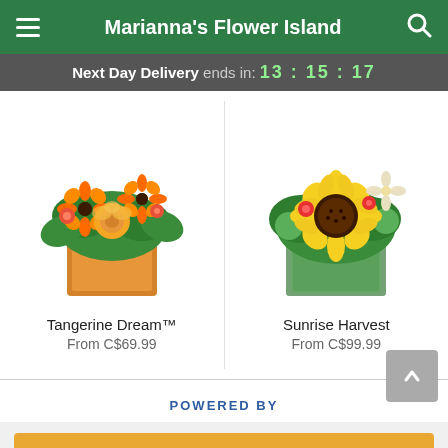Marianna's Flower Island
Next Day Delivery ends in: 13 : 15 : 17
[Figure (photo): Orange gerbera daisies and roses in an orange square vase - Tangerine Dream arrangement]
Tangerine Dream™
From C$69.99
[Figure (photo): Sunflowers and white flowers in a green glass square vase - Sunrise Harvest arrangement]
Sunrise Harvest
From C$99.99
POWERED BY
Start Order